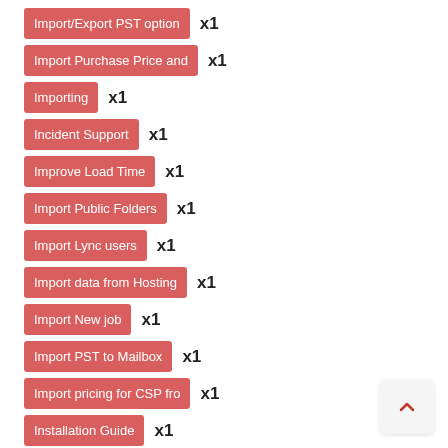Import/Export PST option x1
Import Purchase Price and x1
Importing x1
Incident Support x1
Improve Load Time x1
Import Public Folders x1
Import Lync users x1
Import data from Hosting x1
Import New job x1
Import PST to Mailbox x1
Import pricing for CSP fro x1
Installation Guide x1
Information not syncing to x1